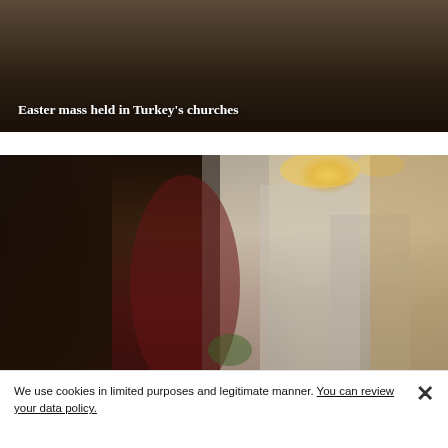[Figure (photo): Dark photo of Easter mass in a church, people in formal/religious attire. Caption overlay reads: Easter mass held in Turkey's churches]
Easter mass held in Turkey's churches
[Figure (photo): Photo of Orthodox clergy in black robes and headdresses alongside men in white lab coats with red and white medals/crosses, gathered around large caldrons. Warm interior setting with chandeliers and wood paneling. Caption overlay reads: Patriarchate lights caldrons to produce Holy Myron oil]
Patriarchate lights caldrons to produce Holy Myron oil
We use cookies in limited purposes and legitimate manner. You can review your data policy.